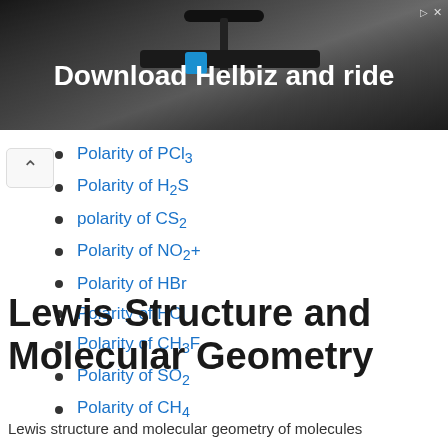[Figure (photo): Advertisement banner showing a scooter handlebar photo with text 'Download Helbiz and ride' and close/ad icons in the top right.]
Polarity of PCl3
Polarity of H2S
polarity of CS2
Polarity of NO2+
Polarity of HBr
Polarity of HCl
Polarity of CH3F
Polarity of SO2
Polarity of CH4
Lewis Structure and Molecular Geometry
Lewis structure and molecular geometry of molecules